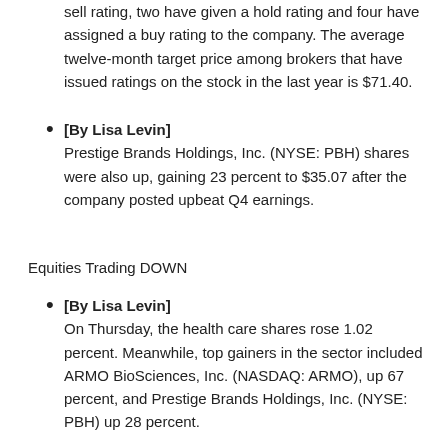sell rating, two have given a hold rating and four have assigned a buy rating to the company. The average twelve-month target price among brokers that have issued ratings on the stock in the last year is $71.40.
[By Lisa Levin] Prestige Brands Holdings, Inc. (NYSE: PBH) shares were also up, gaining 23 percent to $35.07 after the company posted upbeat Q4 earnings.
Equities Trading DOWN
[By Lisa Levin] On Thursday, the health care shares rose 1.02 percent. Meanwhile, top gainers in the sector included ARMO BioSciences, Inc. (NASDAQ: ARMO), up 67 percent, and Prestige Brands Holdings, Inc. (NYSE: PBH) up 28 percent.